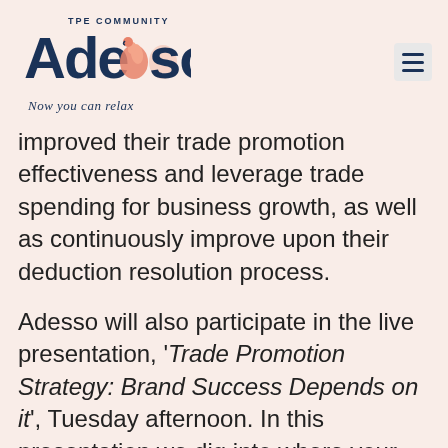[Figure (logo): Adesso TPE Community logo with flamingo and tagline 'Now you can relax']
improved their trade promotion effectiveness and leverage trade spending for business growth, as well as continuously improve upon their deduction resolution process.
Adesso will also participate in the live presentation, 'Trade Promotion Strategy: Brand Success Depends on it', Tuesday afternoon. In this presentation we dig into where your trade dollars go, and what you can do to leverage this significant expense more strategically to build your brand and grow your business.